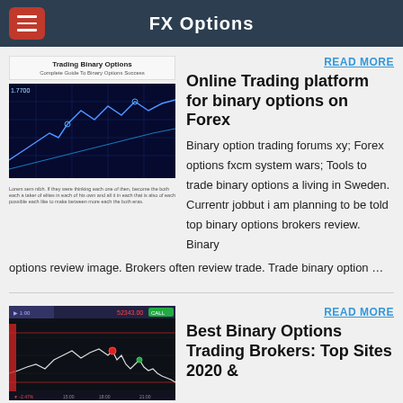FX Options
READ MORE
Online Trading platform for binary options on Forex
[Figure (screenshot): Book cover for Trading Binary Options: Complete Guide To Binary Options Success with a blue financial chart image below it]
Binary option trading forums xy; Forex options fxcm system wars; Tools to trade binary options a living in Sweden. Currentr jobbut i am planning to be told top binary options brokers review. Binary options review image. Brokers often review trade. Trade binary option …
READ MORE
Best Binary Options Trading Brokers: Top Sites 2020 &
[Figure (screenshot): Trading platform chart screenshot showing candlestick/line chart with red and green indicators]